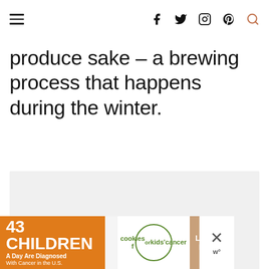Navigation header with hamburger menu and social icons (f, twitter, instagram, pinterest, search)
produce sake – a brewing process that happens during the winter.
[Figure (photo): Light gray placeholder image block]
[Figure (infographic): Advertisement banner: 43 CHILDREN A Day Are Diagnosed With Cancer in the U.S. — cookies for kids' cancer — Let's Get Baking]